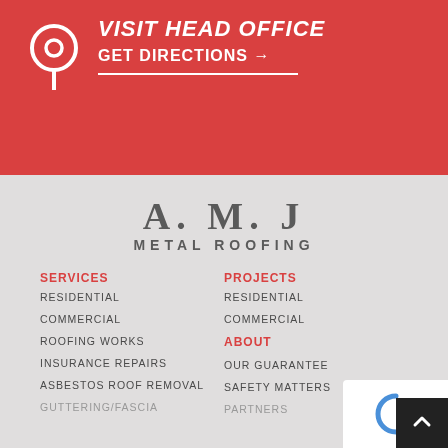VISIT HEAD OFFICE
GET DIRECTIONS →
[Figure (logo): A.M.J METAL ROOFING logo in dark gray serif font on light gray background]
SERVICES
RESIDENTIAL
COMMERCIAL
ROOFING WORKS
INSURANCE REPAIRS
ASBESTOS ROOF REMOVAL
PROJECTS
RESIDENTIAL
COMMERCIAL
ABOUT
OUR GUARANTEE
SAFETY MATTERS